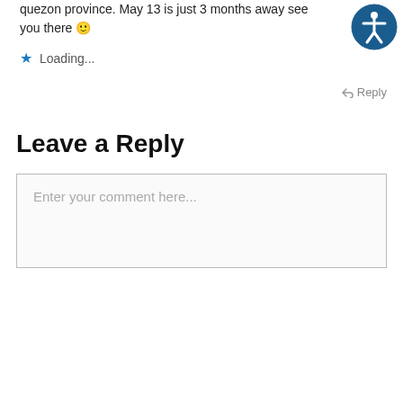quezon province. May 13 is just 3 months away see you there 🙂
★ Loading...
↩ Reply
Leave a Reply
Enter your comment here...